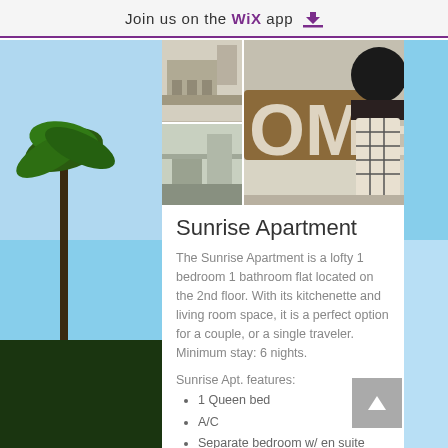Join us on the WiX app ⬇
[Figure (photo): Thumbnail photos of apartment interior and a decorative HOME sign with a modern lamp]
Sunrise Apartment
The Sunrise Apartment is a lofty 1 bedroom 1 bathroom flat located on the 2nd floor. With its kitchenette and living room space, it is a perfect option for a couple, or a single traveler. Minimum stay: 6 nights.
Sunrise Apt. features:
1 Queen bed
A/C
Separate bedroom w/ en suite bathroom
Fridge
Cook-top kitchenette